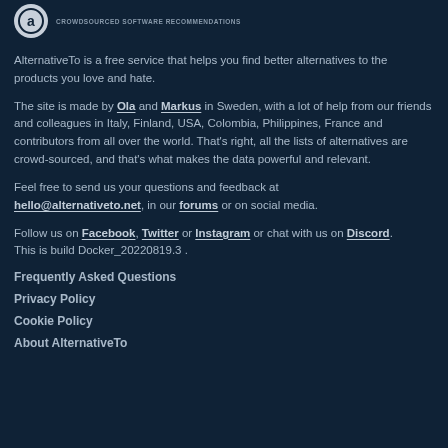CROWDSOURCED SOFTWARE RECOMMENDATIONS
AlternativeTo is a free service that helps you find better alternatives to the products you love and hate.
The site is made by Ola and Markus in Sweden, with a lot of help from our friends and colleagues in Italy, Finland, USA, Colombia, Philippines, France and contributors from all over the world. That's right, all the lists of alternatives are crowd-sourced, and that's what makes the data powerful and relevant.
Feel free to send us your questions and feedback at hello@alternativeto.net, in our forums or on social media.
Follow us on Facebook, Twitter or Instagram or chat with us on Discord. This is build Docker_20220819.3 .
Frequently Asked Questions
Privacy Policy
Cookie Policy
About AlternativeTo